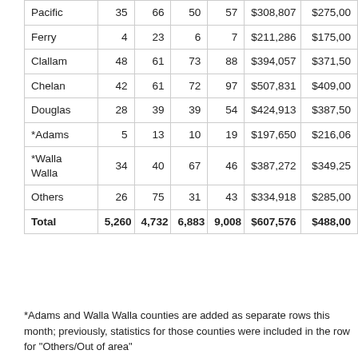|  |  |  |  |  |  |  |
| --- | --- | --- | --- | --- | --- | --- |
| Pacific | 35 | 66 | 50 | 57 | $308,807 | $275,00 |
| Ferry | 4 | 23 | 6 | 7 | $211,286 | $175,00 |
| Clallam | 48 | 61 | 73 | 88 | $394,057 | $371,50 |
| Chelan | 42 | 61 | 72 | 97 | $507,831 | $409,00 |
| Douglas | 28 | 39 | 39 | 54 | $424,913 | $387,50 |
| *Adams | 5 | 13 | 10 | 19 | $197,650 | $216,06 |
| *Walla Walla | 34 | 40 | 67 | 46 | $387,272 | $349,25 |
| Others | 26 | 75 | 31 | 43 | $334,918 | $285,00 |
| Total | 5,260 | 4,732 | 6,883 | 9,008 | $607,576 | $488,00 |
*Adams and Walla Walla counties are added as separate rows this month; previously, statistics for those counties were included in the row for "Others/Out of area"